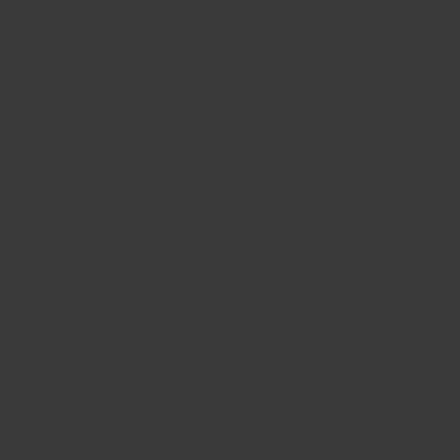of immigration, of 36%, was B... 2006, one in two new immigra... for 16% of new entries. Other... exists across all communities,... is called an honor crime.
The prosecution argued it was... led Mr. Shafia to cleanse the s... daughters, Zainab, 19 years o... took unapproved boyfriends, a... their independent behavior an... Mohammad, who was Mr. Sha... was killed, the prosecution arg... and lenient step mother.
The trial filled the Canadian p... which police believe the victim... that was then pushed into a lo... press printed police transcript... "whores" and boasting, "nothi...
In recent decades, immigrants... integrated among North Amer... numbers of new arrivals, acco... Research, a U.S. think tank th...